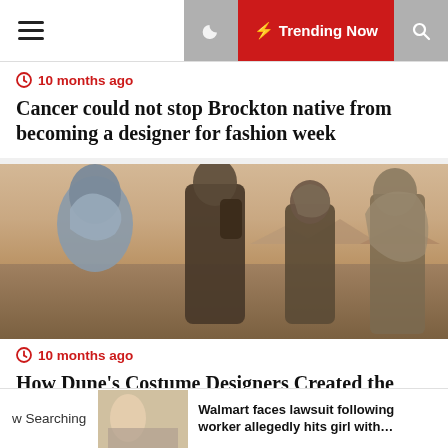≡ Trending Now 🔍
10 months ago
Cancer could not stop Brockton native from becoming a designer for fashion week
[Figure (photo): Scene from the movie Dune showing characters in desert sci-fi costumes standing in a sandy landscape]
10 months ago
How Dune's Costume Designers Created the Definitive Sci-Fi Fashion Fantasy
w Searching | Walmart faces lawsuit following worker allegedly hits girl with...